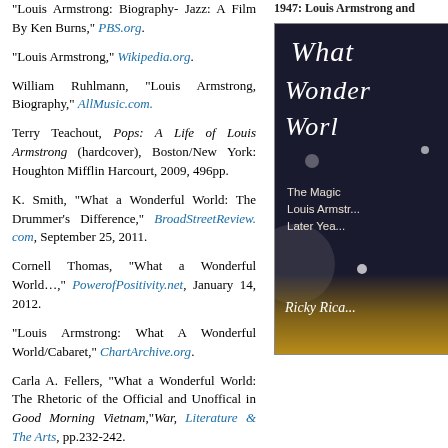"Louis Armstrong: Biography- Jazz: A Film By Ken Burns," PBS.org.
"Louis Armstrong," Wikipedia.org.
William Ruhlmann, "Louis Armstrong, Biography," AllMusic.com.
Terry Teachout, Pops: A Life of Louis Armstrong (hardcover), Boston/New York: Houghton Mifflin Harcourt, 2009, 496pp.
K. Smith, "What a Wonderful World: The Drummer's Difference," BroadStreetReview.com, September 25, 2011.
Cornell Thomas, "What a Wonderful World…," PowerofPositivity.net, January 14, 2012.
"Louis Armstrong: What A Wonderful World/Cabaret," ChartArchive.org.
Carla A. Fellers, "What a Wonderful World: The Rhetoric of the Official and Unoffical in Good Morning Vietnam,"War, Literature & The Arts, pp.232-242.
1947: Louis Armstrong and
[Figure (photo): Book cover of 'What a Wonderful World: The Magic of Louis Armstrong's Later Years' by Ricky Riccardi, dark blue background with stylized cursive title text and glowing warm light at bottom.]